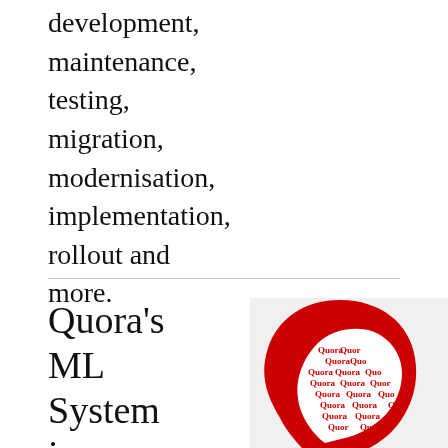development, maintenance, testing, migration, modernisation, implementation, rollout and more.
Quora's ML System is a Class
[Figure (illustration): A red silhouette of a human head in profile filled with the word 'Quora' repeated in red text on a white background, creating a typographic brain/mind illustration.]